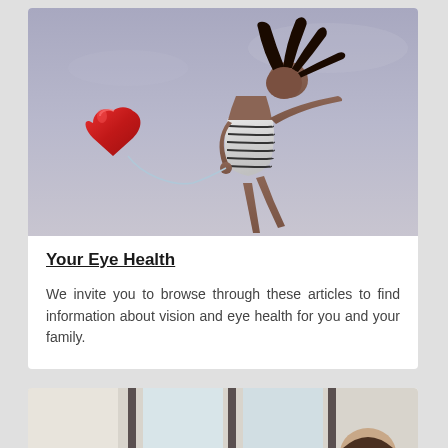[Figure (photo): Young woman in a black and white striped dress jumping in the air against a lavender/grey sky, holding a red heart-shaped foil balloon by a thin ribbon, hair flying upward, arms outstretched]
Your Eye Health
We invite you to browse through these articles to find information about vision and eye health for you and your family.
[Figure (photo): Partial view of a child near a window, cropped at bottom of page]